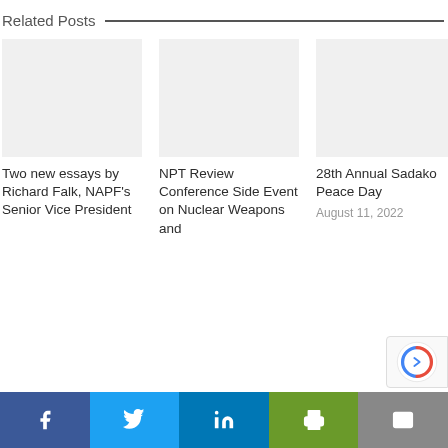Related Posts
[Figure (photo): Placeholder image for post 1 (light gray rectangle)]
Two new essays by Richard Falk, NAPF's Senior Vice President
[Figure (photo): Placeholder image for post 2 (light gray rectangle)]
NPT Review Conference Side Event on Nuclear Weapons and...
[Figure (photo): Placeholder image for post 3 (light gray rectangle)]
28th Annual Sadako Peace Day
August 11, 2022
Facebook | Twitter | LinkedIn | Print | Email